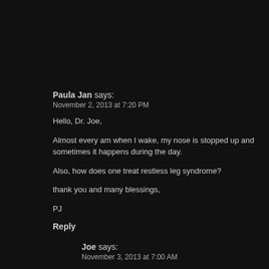Paula Jan says:
November 2, 2013 at 7:20 PM
Hello, Dr. Joe,
Almost every am when I wake, my nose is stopped up and sometimes it happens during the day.
Also, how does one treat restless leg syndrome?
thank you and many blessings,
PJ
Reply
Joe says:
November 3, 2013 at 7:00 AM
Paula Jan
Please present your case in detail as the information you have given is not sufficient for me to diagnose your ailment.
Reply